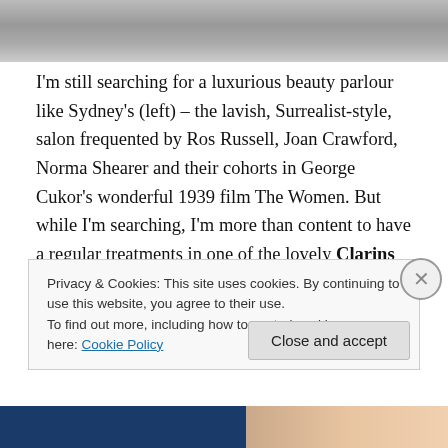[Figure (photo): Black and white photo showing people in what appears to be a beauty salon or elegant interior space]
I'm still searching for a luxurious beauty parlour like Sydney's (left) – the lavish, Surrealist-style, salon frequented by Ros Russell, Joan Crawford, Norma Shearer and their cohorts in George Cukor's wonderful 1939 film The Women. But while I'm searching, I'm more than content to have a regular treatments in one of the lovely Clarins Spas. On Wednesday, I had a change of venue: instead of going to the spa in Frasers, in Glasgow, I tried out its sister over in Debenhams. It's just as
Privacy & Cookies: This site uses cookies. By continuing to use this website, you agree to their use.
To find out more, including how to control cookies, see here: Cookie Policy
Close and accept